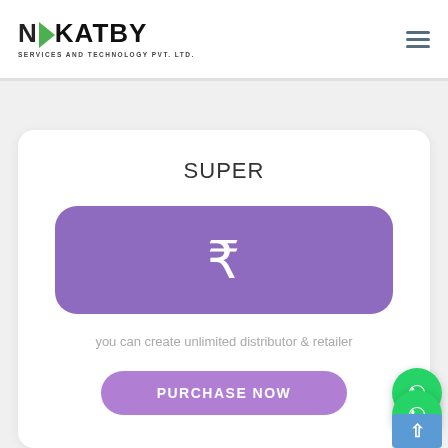[Figure (logo): Nikatby Services and Technology Pvt. Ltd. logo with green chevron accent]
SUPER
[Figure (infographic): Purple rounded rectangle box with Indian Rupee symbol (₹) in white]
you can create unlimited distributor & retailer
PURCHASE NOW